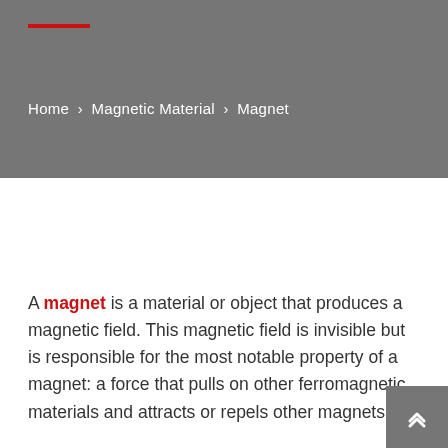Home › Magnetic Material › Magnet
A magnet is a material or object that produces a magnetic field. This magnetic field is invisible but is responsible for the most notable property of a magnet: a force that pulls on other ferromagnetic materials and attracts or repels other magnets. A